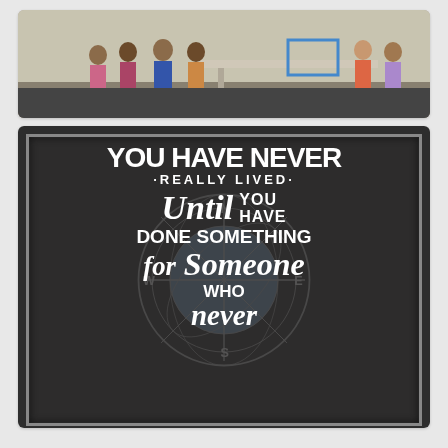[Figure (photo): A photo of a group of children and adults standing in what appears to be a classroom or gymnasium. Tables and equipment are visible in the background.]
[Figure (photo): A chalkboard-style motivational sign with white lettering on a dark background reading: 'YOU HAVE NEVER REALLY LIVED Until YOU HAVE DONE SOMETHING for Someone WHO NEVER...' with a compass/globe watermark in the background.]